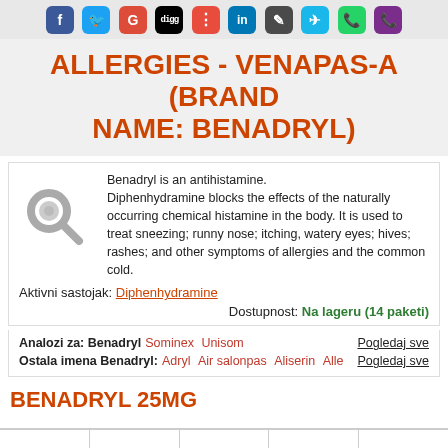[Figure (other): Social media sharing icons bar: Facebook, Twitter, Google+, Digg, Delicious, LinkedIn, Scribd, Viadeo, WhatsApp, Viber]
ALLERGIES - VENAPAS-A (BRAND NAME: BENADRYL)
Benadryl is an antihistamine. Diphenhydramine blocks the effects of the naturally occurring chemical histamine in the body. It is used to treat sneezing; runny nose; itching, watery eyes; hives; rashes; and other symptoms of allergies and the common cold.
Aktivni sastojak: Diphenhydramine
Dostupnost: Na lageru (14 paketi)
Analozi za: Benadryl   Sominex   Unisom   Pogledaj sve
Ostala imena Benadryl:   Adryl   Air salonpas   Aliserin   Alle   Pogledaj sve
BENADRYL 25MG